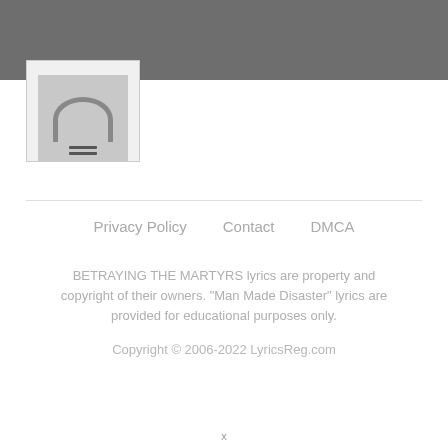[Figure (photo): Partial album art thumbnail showing a necklace/chain graphic on grey background, inside a bordered box]
Privacy Policy   Contact   DMCA
BETRAYING THE MARTYRS lyrics are property and copyright of their owners. "Man Made Disaster" lyrics are provided for educational purposes only.
Copyright © 2006-2022 LyricsReg.com